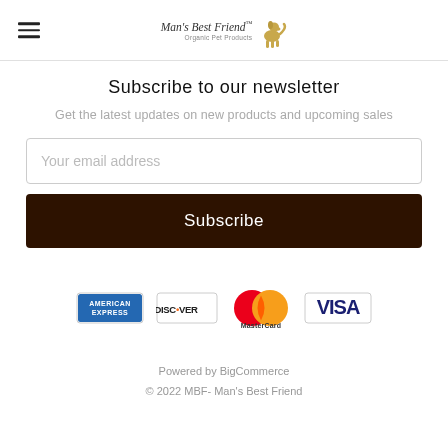Man's Best Friend™ Organic Pet Products
Subscribe to our newsletter
Get the latest updates on new products and upcoming sales
Your email address
Subscribe
[Figure (logo): Payment method logos: American Express, Discover, MasterCard, Visa]
Powered by BigCommerce
© 2022 MBF- Man's Best Friend